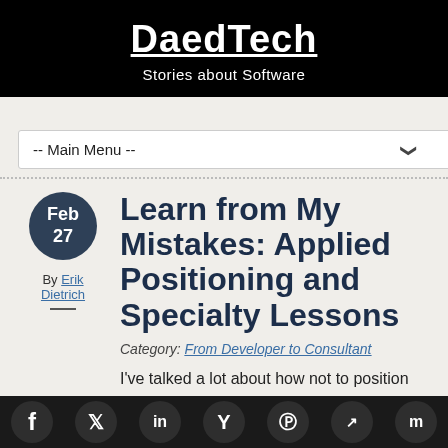DaedTech — Stories about Software
-- Main Menu --
Learn from My Mistakes: Applied Positioning and Specialty Lessons
By Erik Dietrich
Category: From Developer to Consultant
I've talked a lot about how not to position
Social share bar: Facebook, Twitter, LinkedIn, Y, Reddit, share, bookmark